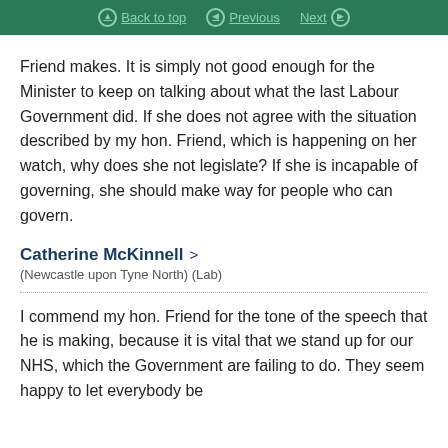Back to top | Previous | Next
Friend makes. It is simply not good enough for the Minister to keep on talking about what the last Labour Government did. If she does not agree with the situation described by my hon. Friend, which is happening on her watch, why does she not legislate? If she is incapable of governing, she should make way for people who can govern.
Catherine McKinnell
(Newcastle upon Tyne North) (Lab)
I commend my hon. Friend for the tone of the speech that he is making, because it is vital that we stand up for our NHS, which the Government are failing to do. They seem happy to let everybody be